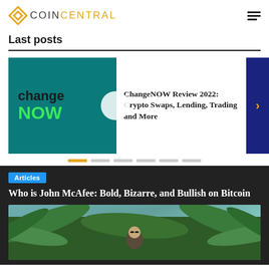COIN CENTRAL
Last posts
[Figure (screenshot): ChangeNOW logo card with teal background showing 'change NOW' text]
ChangeNOW Review 2022: Crypto Swaps, Lending, Trading and More
Articles
Who is John McAfee: Bold, Bizarre, and Bullish on Bitcoin
[Figure (photo): Photo of John McAfee among tropical palm plants wearing sunglasses]